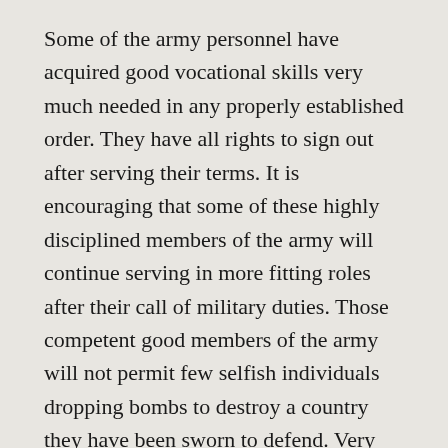Some of the army personnel have acquired good vocational skills very much needed in any properly established order. They have all rights to sign out after serving their terms. It is encouraging that some of these highly disciplined members of the army will continue serving in more fitting roles after their call of military duties. Those competent good members of the army will not permit few selfish individuals dropping bombs to destroy a country they have been sworn to defend. Very hopefully end of dictatorship may not mean war as Yaya Jammeh and his gang wish to impose.
Defections in the Libyan style
Record number of defectors already threatens the support base of Yaya Jammeh and his ruling military government. Situations like this breed lot of mistrust